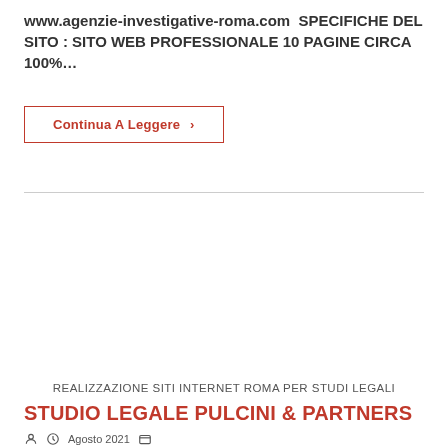www.agenzie-investigative-roma.com  SPECIFICHE DEL SITO : SITO WEB PROFESSIONALE 10 PAGINE CIRCA 100%…
Continua A Leggere ›
REALIZZAZIONE SITI INTERNET ROMA PER STUDI LEGALI
STUDIO LEGALE PULCINI & PARTNERS